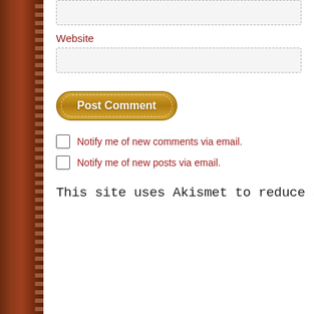Website
Post Comment
Notify me of new comments via email.
Notify me of new posts via email.
This site uses Akismet to reduce spam. Learn how y